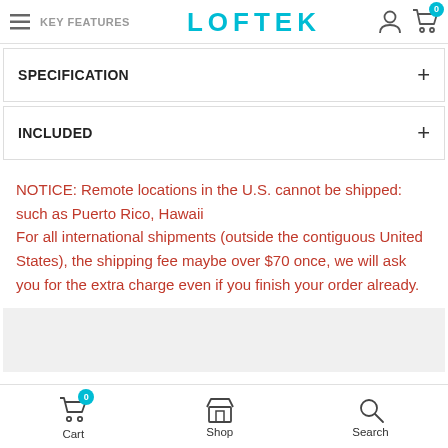KEY FEATURES | LOFTEK
SPECIFICATION
INCLUDED
NOTICE: Remote locations in the U.S. cannot be shipped: such as Puerto Rico, Hawaii
For all international shipments (outside the contiguous United States), the shipping fee maybe over $70 once, we will ask you for the extra charge even if you finish your order already.
Cart  Shop  Search